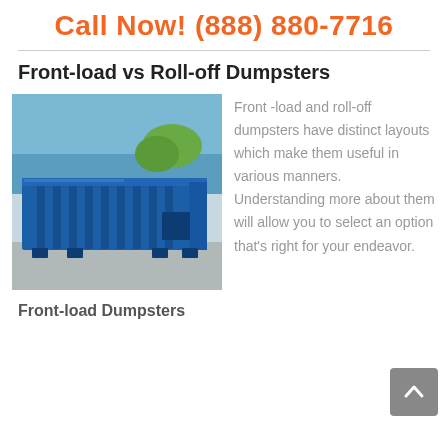Call Now! (888) 880-7716
Front-load vs Roll-off Dumpsters
[Figure (photo): Photo of a large blue roll-off dumpster parked outside near a blue metal building]
Front -load and roll-off dumpsters have distinct layouts which make them useful in various manners. Understanding more about them will allow you to select an option that's right for your endeavor.
Front-load Dumpsters